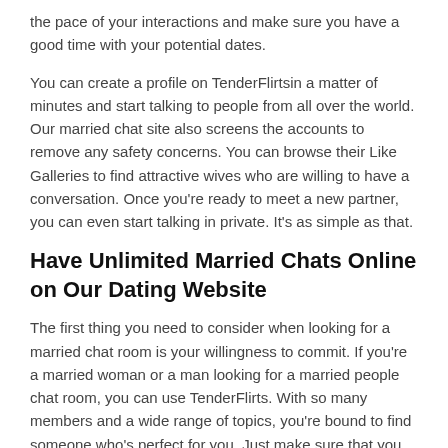the pace of your interactions and make sure you have a good time with your potential dates.
You can create a profile on TenderFlirtsin a matter of minutes and start talking to people from all over the world. Our married chat site also screens the accounts to remove any safety concerns. You can browse their Like Galleries to find attractive wives who are willing to have a conversation. Once you're ready to meet a new partner, you can even start talking in private. It's as simple as that.
Have Unlimited Married Chats Online on Our Dating Website
The first thing you need to consider when looking for a married chat room is your willingness to commit. If you're a married woman or a man looking for a married people chat room, you can use TenderFlirts. With so many members and a wide range of topics, you're bound to find someone who's perfect for you. Just make sure that you are honest and genuine, or you'll end up disappointed with your results.
Another great feature of our married chat site is that you can use